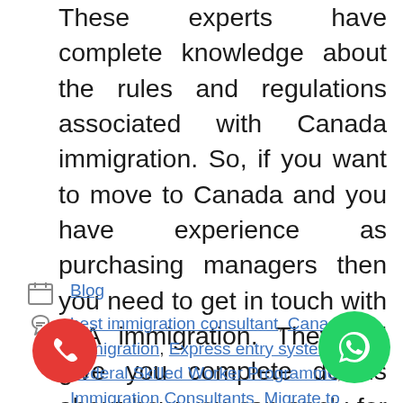These experts have complete knowledge about the rules and regulations associated with Canada immigration. So, if you want to move to Canada and you have experience as purchasing managers then you need to get in touch with IRA immigration. They will give you complete details about how you can apply for immigration to Canada. It must be noted that IRA immigration has a very high success rate.
Blog
best immigration consultant, Canada Immigration, Express entry system, Federal Skilled Worker Programme, Immigration Consultants, Migrate to Canada, PR visa Canada, qualification immigration consultant